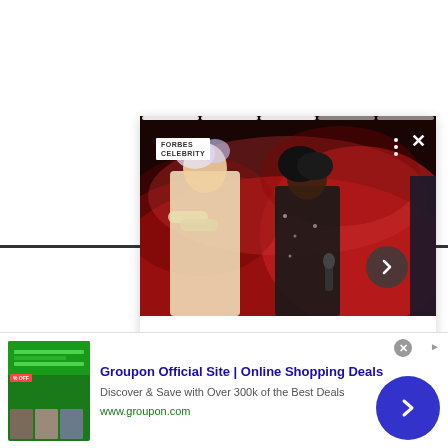[Figure (screenshot): Social media story card showing two performers on a stage bathed in red/purple smoke lighting. One performer in a white suit with arms crossed, another in a dark sparkly outfit. The card has a progress bar at top, a logo watermark top-left, a three-dot menu and X close button top-right, and a forward arrow button at bottom-right. Below the image is a white empty area.]
[Figure (screenshot): Advertisement banner for Groupon at bottom of page. Shows Groupon logo area with green background and small product photos, alongside text: 'Groupon Official Site | Online Shopping Deals', 'Discover & Save with Over 300k of the Best Deals', 'www.groupon.com'. Has a close button (X in circle) and a blue circular CTA arrow button on the right.]